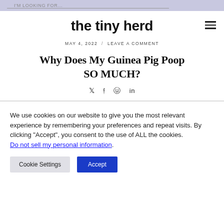I'M LOOKING FOR...
the tiny herd
MAY 4, 2022 / LEAVE A COMMENT
Why Does My Guinea Pig Poop SO MUCH?
Social share icons: Twitter, Facebook, Pinterest, LinkedIn
We use cookies on our website to give you the most relevant experience by remembering your preferences and repeat visits. By clicking "Accept", you consent to the use of ALL the cookies. Do not sell my personal information.
Cookie Settings | Accept